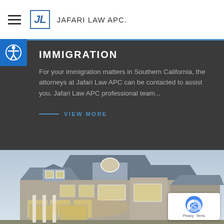JL JAFARI LAW APC
IMMIGRATION
For your immigration matters in Southern California, the attorneys at Jafari Law APC can be contacted to assist you. Jafari Law APC professional team...
VIEW MORE
[Figure (photo): Exterior photo of a large two-story residential house at dusk with lights on, featuring multiple roof gables, a two-car garage, and landscaping]